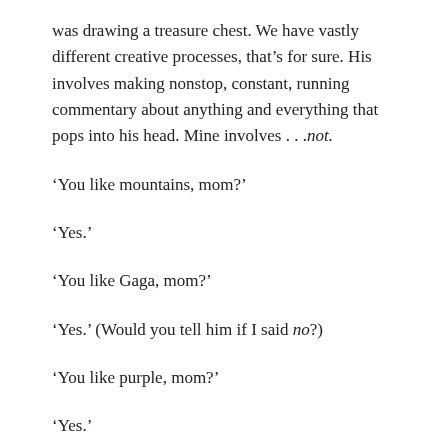was drawing a treasure chest. We have vastly different creative processes, that’s for sure. His involves making nonstop, constant, running commentary about anything and everything that pops into his head. Mine involves……not.
‘You like mountains, mom?’
‘Yes.’
‘You like Gaga, mom?’
‘Yes.’ (Would you tell him if I said no?)
‘You like purple, mom?’
‘Yes.’